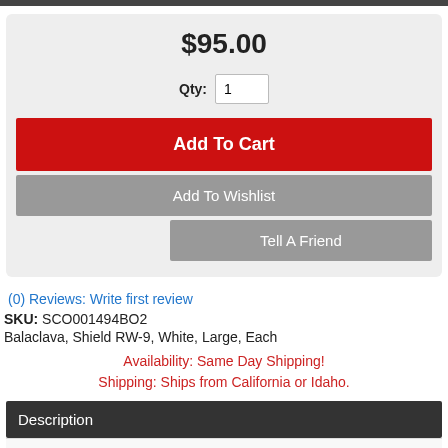$95.00
Qty: 1
Add To Cart
Add To Wishlist
Tell A Friend
(0) Reviews: Write first review
SKU: SCO001494BO2
Balaclava, Shield RW-9, White, Large, Each
Availability: Same Day Shipping!
Shipping: Ships from California or Idaho.
Description
Details